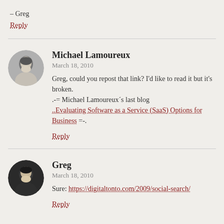– Greg
Reply
Michael Lamoureux
March 18, 2010
Greg, could you repost that link? I'd like to read it but it's broken.
.-= Michael Lamoureux´s last blog
..Evaluating Software as a Service (SaaS) Options for Business =-.
Reply
Greg
March 18, 2010
Sure: https://digitaltonto.com/2009/social-search/
Reply